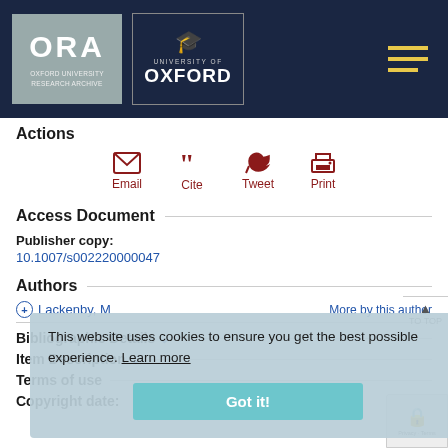[Figure (logo): ORA Oxford University Research Archive logo and University of Oxford crest logo on dark navy header bar with hamburger menu icon]
Actions
[Figure (infographic): Four action icons: Email (envelope), Cite (quotation marks), Tweet (bird), Print (printer) in dark red/crimson color with labels below]
Access Document
Publisher copy:
10.1007/s002220000047
Authors
+ Lackenby, M   More by this author
TO TOP
This website uses cookies to ensure you get the best possible experience. Learn more
Bibliographic Details
Item Description
Terms of use
Copyright date: